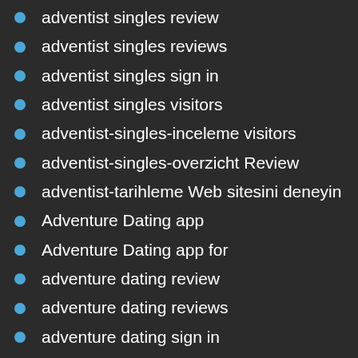adventist singles review
adventist singles reviews
adventist singles sign in
adventist singles visitors
adventist-singles-inceleme visitors
adventist-singles-overzicht Review
adventist-tarihleme Web sitesini deneyin
Adventure Dating app
Adventure Dating app for
adventure dating review
adventure dating reviews
adventure dating sign in
Adventure dating site free
Adventure Dating visitors
affair-chat-rooms dating